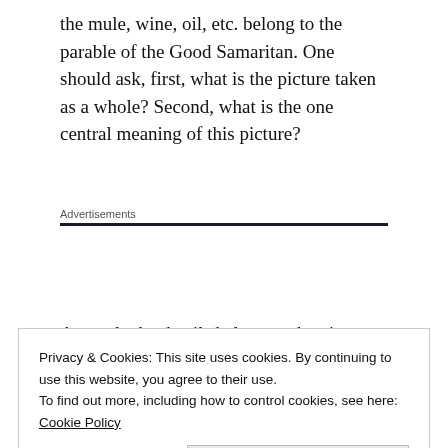the mule, wine, oil, etc. belong to the parable of the Good Samaritan. One should ask, first, what is the picture taken as a whole? Second, what is the one central meaning of this picture?
Advertisements
As a rule the details belong to the picture, to the
Privacy & Cookies: This site uses cookies. By continuing to use this website, you agree to their use.
To find out more, including how to control cookies, see here: Cookie Policy
Close and accept
idea of the symbol. Thus, in the symbol of the